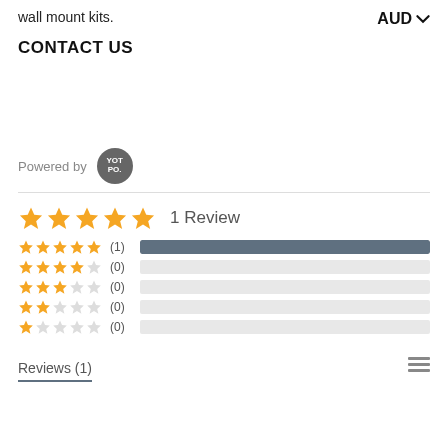wall mount kits.
AUD ▾
CONTACT US
Powered by YOTPO.
★★★★★ 1 Review
[Figure (infographic): Rating breakdown bars: 5 stars (1) full bar, 4 stars (0) empty, 3 stars (0) empty, 2 stars (0) empty, 1 star (0) empty]
Reviews (1)